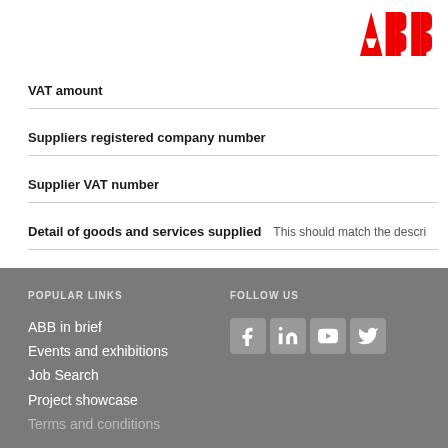[Figure (logo): ABB company logo in red]
| VAT amount |  |
| Suppliers registered company number |  |
| Supplier VAT number |  |
| Detail of goods and services supplied | This should match the descri |
POPULAR LINKS
FOLLOW US
ABB in brief
Events and exhibitions
Job Search
Project showcase
Terms and conditions